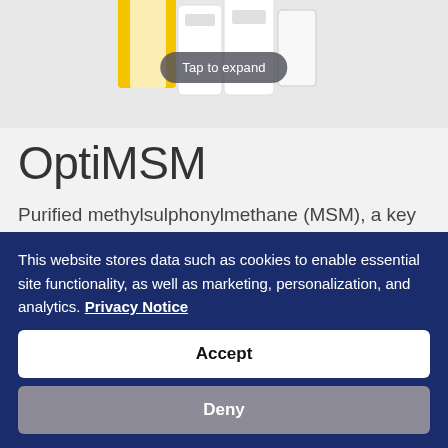[Figure (photo): Product photo showing yellow and white supplement bottles/boxes on a light grey background with a 'Tap to expand' pill button overlay]
OptiMSM
Purified methylsulphonylmethane (MSM), a key structural component of joint cartilage. Read full description
This website stores data such as cookies to enable essential site functionality, as well as marketing, personalization, and analytics. Privacy Notice
Accept
Deny